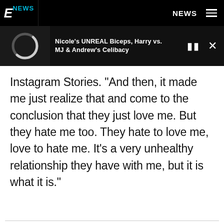[Figure (logo): E! News logo — white stylized E with cyan NEWS text on black background]
NEWS
[Figure (screenshot): E! News media player bar showing a loading ring thumbnail and podcast/video title: Nicole's UNREAL Biceps, Harry vs. MJ & Andrew's Celibacy, with pause and close controls]
Instagram Stories. "And then, it made me just realize that and come to the conclusion that they just love me. But they hate me too. They hate to love me, love to hate me. It's a very unhealthy relationship they have with me, but it is what it is."